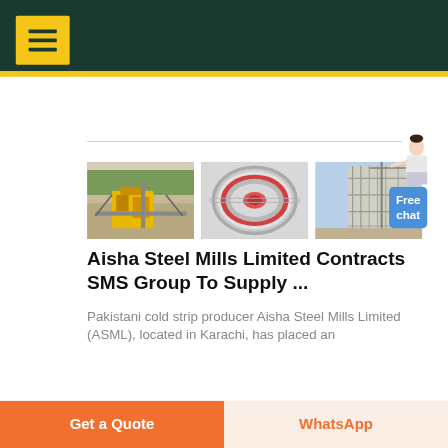[Figure (photo): Three industrial/engineering photos: left shows yellow heavy machinery at a plant, center shows a large cylindrical ball mill or grinding drum in silver/red, right shows scaffolding and industrial plant construction.]
Aisha Steel Mills Limited Contracts SMS Group To Supply ...
Pakistani cold strip producer Aisha Steel Mills Limited (ASML), located in Karachi, has placed an
Get a Quote | WhatsApp